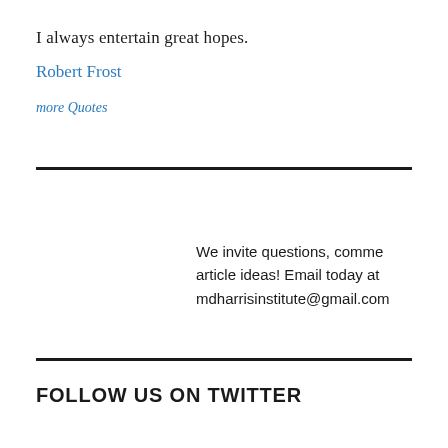I always entertain great hopes.
Robert Frost
more Quotes
We invite questions, comments and article ideas! Email today at mdharrisinstitute@gmail.com
FOLLOW US ON TWITTER